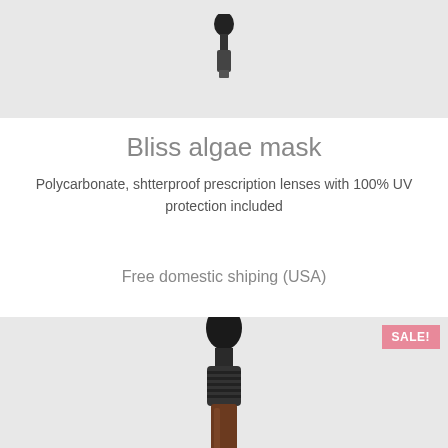[Figure (photo): Top portion of a dropper bottle cap on light gray background]
Bliss algae mask
Polycarbonate, shtterproof prescription lenses with 100% UV protection included
Free domestic shiping (USA)
[Figure (photo): Dropper bottle with black cap on light gray background, with SALE! badge in pink]